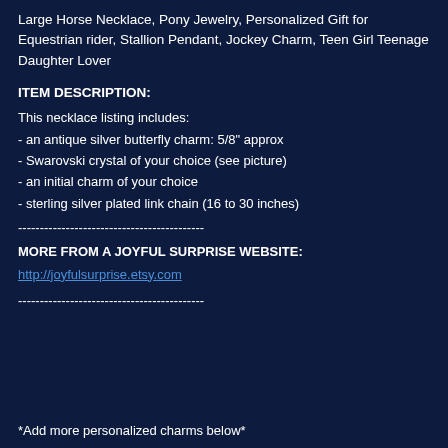Large Horse Necklace, Pony Jewelry, Personalized Gift for Equestrian rider, Stallion Pendant, Jockey Charm, Teen Girl Teenage Daughter Lover
ITEM DESCRIPTION:
This necklace listing includes:
- an antique silver butterfly charm: 5/8" approx
- Swarovski crystal of your choice (see picture)
- an initial charm of your choice
- sterling silver plated link chain (16 to 30 inches)
-------------------------------------------
MORE FROM A JOYFUL SURPRISE WEBSITE:
http://joyfulsurprise.etsy.com
-------------------------------------------
*Add more personalized charms below*